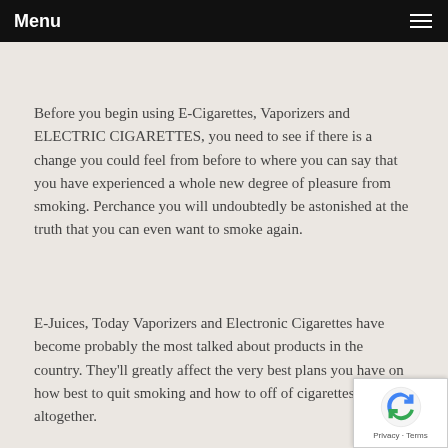Menu
Before you begin using E-Cigarettes, Vaporizers and ELECTRIC CIGARETTES, you need to see if there is a change you could feel from before to where you can say that you have experienced a whole new degree of pleasure from smoking. Perchance you will undoubtedly be astonished at the truth that you can even want to smoke again.
E-Juices, Today Vaporizers and Electronic Cigarettes have become probably the most talked about products in the country. They'll greatly affect the very best plans you have on how best to quit smoking and how to off of cigarettes altogether.